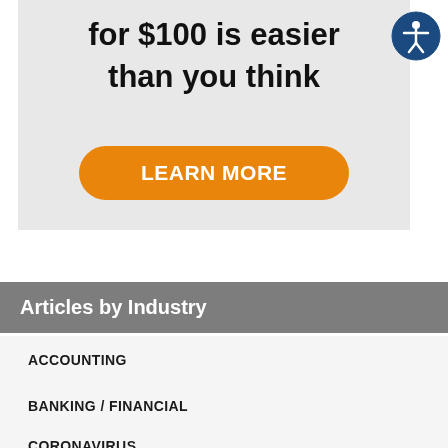[Figure (other): Advertisement banner with gray background showing text 'for $100 is easier than you think' and an orange 'LEARN MORE' button, plus an accessibility icon circle in top right]
Articles by Industry
ACCOUNTING
BANKING / FINANCIAL
CORONAVIRUS